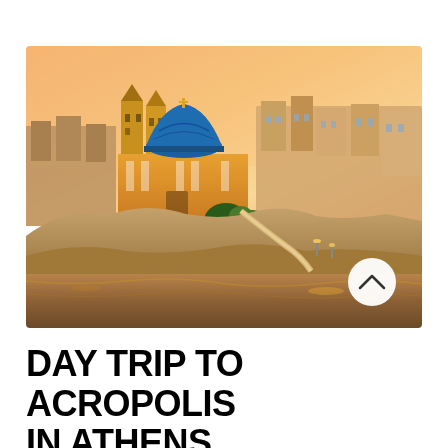[Figure (photo): Aerial/waterfront view of a Greek coastal town at sunset with an orange and pink sky. A prominent church with a large blue dome and twin bell towers stands in the center. Colorful Mediterranean buildings cascade down rocky cliffs toward the water. A circular scroll-up button with a chevron appears in the lower right of the image.]
DAY TRIP TO ACROPOLIS IN ATHENS